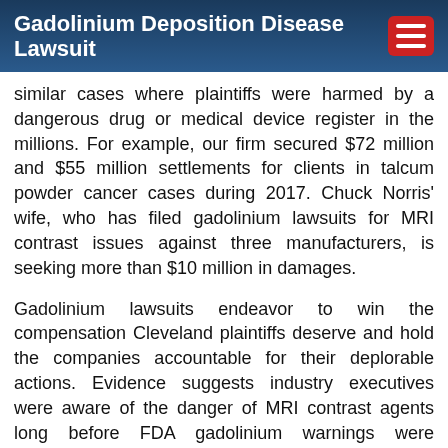Gadolinium Deposition Disease Lawsuit
similar cases where plaintiffs were harmed by a dangerous drug or medical device register in the millions. For example, our firm secured $72 million and $55 million settlements for clients in talcum powder cancer cases during 2017. Chuck Norris' wife, who has filed gadolinium lawsuits for MRI contrast issues against three manufacturers, is seeking more than $10 million in damages.
Gadolinium lawsuits endeavor to win the compensation Cleveland plaintiffs deserve and hold the companies accountable for their deplorable actions. Evidence suggests industry executives were aware of the danger of MRI contrast agents long before FDA gadolinium warnings were released. These cases will likely be consolidated as multidistrict litigation (MDL), a legal procedure that allows similar cases to be resolved at once, while still preserving the unique details of each case. Settlements are determined based on the individual details of each case and the type and degree of